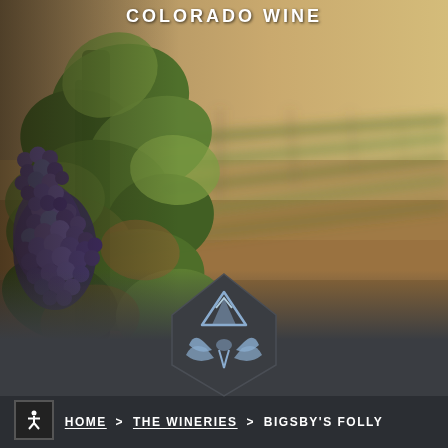COLORADO WINE
[Figure (photo): Vineyard photo showing clusters of dark purple/blue grapes hanging from a vine in the foreground on the left, with green leaves. The background shows rows of grapevines receding into the distance under warm golden light, with reddish-brown soil between the rows.]
[Figure (logo): Colorado Wine country logo: a dark grey diamond/pentagon shape containing a light blue mountain peak icon at the top and a stylized grape leaf motif below it in light blue/grey tones.]
HOME > THE WINERIES > BIGSBY'S FOLLY